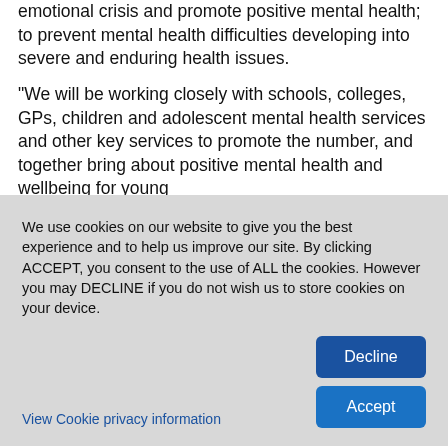emotional crisis and promote positive mental health; to prevent mental health difficulties developing into severe and enduring health issues.
“We will be working closely with schools, colleges, GPs, children and adolescent mental health services and other key services to promote the number, and together bring about positive mental health and wellbeing for young
We use cookies on our website to give you the best experience and to help us improve our site. By clicking ACCEPT, you consent to the use of ALL the cookies. However you may DECLINE if you do not wish us to store cookies on your device.
View Cookie privacy information
Decline
Accept